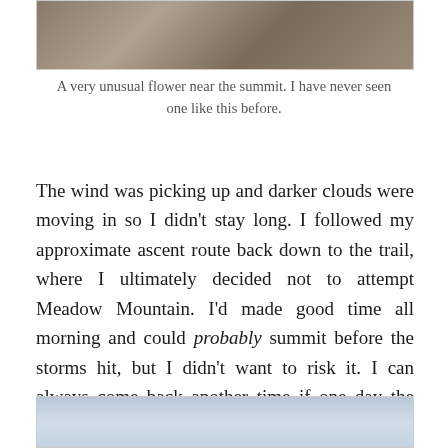[Figure (photo): Photo of rocky terrain near a mountain summit, partially visible at top of page]
A very unusual flower near the summit. I have never seen one like this before.
The wind was picking up and darker clouds were moving in so I didn't stay long. I followed my approximate ascent route back down to the trail, where I ultimately decided not to attempt Meadow Mountain. I'd made good time all morning and could probably summit before the storms hit, but I didn't want to risk it. I can always come back another time if one day the 11ers beckon to me.
[Figure (photo): Photo showing sky and landscape, partially visible at bottom of page]